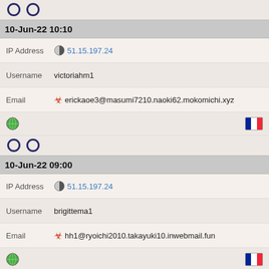[Figure (infographic): Two Opera browser icons side by side]
10-Jun-22 10:10
IP Address  51.15.197.24
Username  victoriahm1
Email  erickaoe3@masumi7210.naoki62.mokomichi.xyz
[Figure (infographic): Globe icon on left, French flag on right]
[Figure (infographic): Two Opera browser icons side by side]
10-Jun-22 09:00
IP Address  51.15.197.24
Username  brigittema1
Email  hh1@ryoichi2010.takayuki10.inwebmail.fun
[Figure (infographic): Globe icon on left, French flag on right]
[Figure (infographic): One Opera browser icon]
9-Jun-22 21:20
IP Address  51.15.197.24
Username  joshuanb18
Email  tv3@hiraku28.inwebmail.fun